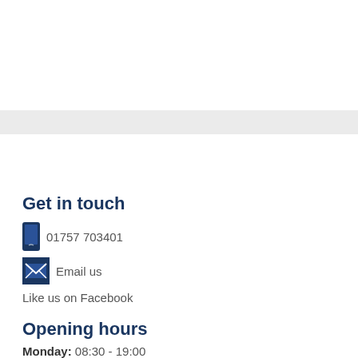[Figure (other): Gray horizontal bar across the page]
Get in touch
01757 703401
Email us
Like us on Facebook
Opening hours
Monday: 08:30 - 19:00